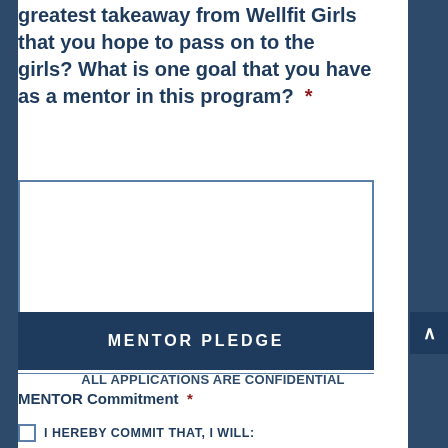greatest takeaway from Wellfit Girls that you hope to pass on to the girls? What is one goal that you have as a mentor in this program?  *
ALL APPLICATIONS ARE CONFIDENTIAL
MENTOR PLEDGE
MENTOR Commitment  *
I HEREBY COMMIT THAT, I WILL: